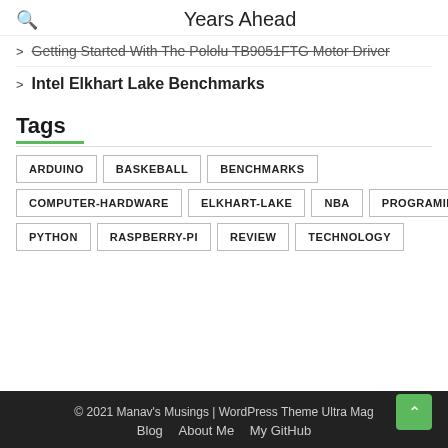Years Ahead
Getting Started With The Pololu TB9051FTG Motor Driver
Intel Elkhart Lake Benchmarks
Tags
ARDUINO | BASKEBALL | BENCHMARKS | COMPUTER-HARDWARE | ELKHART-LAKE | NBA | PROGRAMING | PYTHON | RASPBERRY-PI | REVIEW | TECHNOLOGY
© 2021 Manav's Musings | WordPress Theme Ultra Mag
Blog   About Me   My GitHub